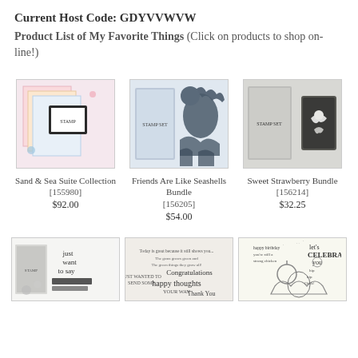Current Host Code: GDYVVWVW
Product List of My Favorite Things (Click on products to shop on-line!)
[Figure (photo): Sand & Sea Suite Collection product photo showing colorful patterned papers and stamp set]
[Figure (photo): Friends Are Like Seashells Bundle product photo showing stamp set and dies with seashell designs]
[Figure (photo): Sweet Strawberry Bundle product photo showing stamp set and die]
Sand & Sea Suite Collection [155980] $92.00
Friends Are Like Seashells Bundle [156205] $54.00
Sweet Strawberry Bundle [156214] $32.25
[Figure (photo): Just Want to Say stamp set product photo]
[Figure (photo): Handwritten style congratulations and happy thoughts stamp set photo]
[Figure (photo): Happy Birthday celebration stamp set with characters photo]